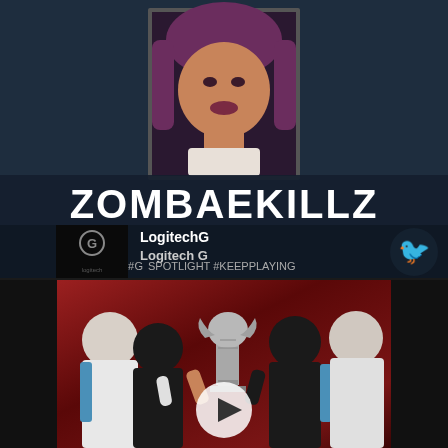[Figure (screenshot): Social media card showing gamer profile with portrait photo of woman with purple hair, name ZOMBAEKILLZ in large white text, Logitech G branding logo, Twitter bird icon, hashtag text #GSPOTLIGHT #KEEPPLAYING]
[Figure (photo): Video thumbnail showing esports team players huddled around a championship trophy (Summoner's Cup style), with a play button overlay in the center. Background is dark red/maroon.]